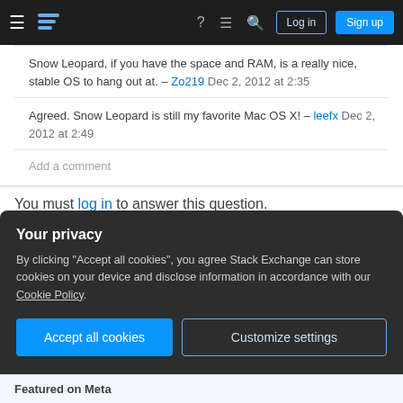Stack Exchange navigation bar with hamburger menu, logo, help, chat, search icons, Log in and Sign up buttons
Snow Leopard, if you have the space and RAM, is a really nice, stable OS to hang out at. – Zo219 Dec 2, 2012 at 2:35
Agreed. Snow Leopard is still my favorite Mac OS X! – leefx Dec 2, 2012 at 2:49
Add a comment
You must log in to answer this question.
Not the answer you're looking for? Browse other questions tagged macos upgrade performance leopard .
Your privacy
By clicking "Accept all cookies", you agree Stack Exchange can store cookies on your device and disclose information in accordance with our Cookie Policy.
Accept all cookies
Customize settings
Featured on Meta